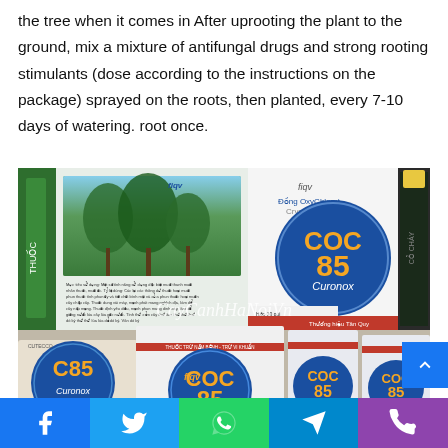the tree when it comes in After uprooting the plant to the ground, mix a mixture of antifungal drugs and strong rooting stimulants (dose according to the instructions on the package) sprayed on the roots, then planted, every 7-10 days of watering. root once.
[Figure (photo): Photo showing COC 85 Curonox antifungal drug product — a box and multiple sachets/packets of the product scattered on a surface. The product packaging is white with a blue circle logo displaying 'COC 85 Curonox' in orange and white text. There is also a dark bottle visible. A watermark reads 'CayCanh HaNoiVn'.]
Facebook | Twitter | WhatsApp | Telegram | Phone